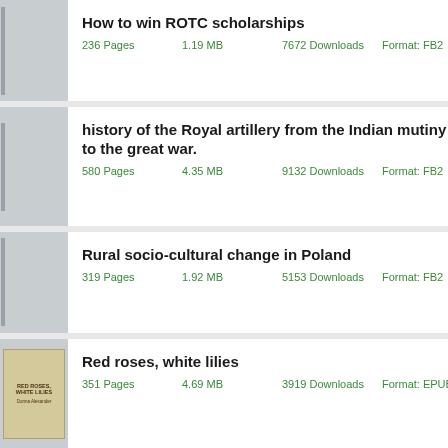How to win ROTC scholarships
236 Pages   1.19 MB   7672 Downloads   Format: FB2
history of the Royal artillery from the Indian mutiny to the great war.
580 Pages   4.35 MB   9132 Downloads   Format: FB2
Rural socio-cultural change in Poland
319 Pages   1.92 MB   5153 Downloads   Format: FB2
Red roses, white lilies
351 Pages   4.69 MB   3919 Downloads   Format: EPUB